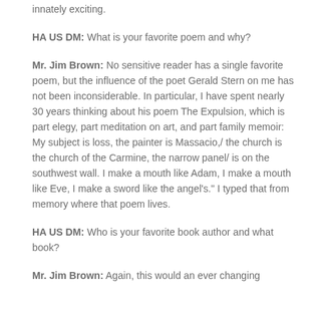innately exciting.
HA US DM: What is your favorite poem and why?
Mr. Jim Brown: No sensitive reader has a single favorite poem, but the influence of the poet Gerald Stern on me has not been inconsiderable. In particular, I have spent nearly 30 years thinking about his poem The Expulsion, which is part elegy, part meditation on art, and part family memoir: My subject is loss, the painter is Massacio,/ the church is the church of the Carmine, the narrow panel/ is on the southwest wall. I make a mouth like Adam, I make a mouth like Eve, I make a sword like the angel's." I typed that from memory where that poem lives.
HA US DM: Who is your favorite book author and what book?
Mr. Jim Brown: Again, this would an ever changing